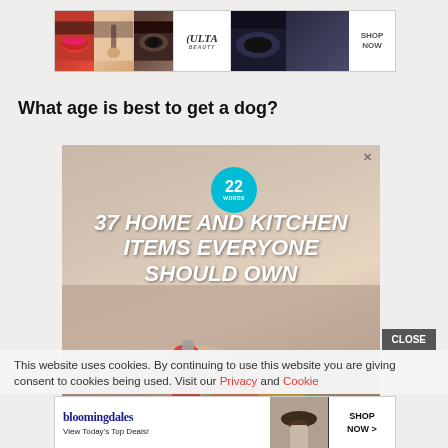[Figure (screenshot): Ulta Beauty banner advertisement with makeup panels, logo, and SHOP NOW text]
What age is best to get a dog?
[Figure (screenshot): 22 Words advertisement banner: '37 HOME AND KITCHEN ITEMS EVERYONE SHOULD OWN' with kitchen scene showing spatula and food]
This website uses cookies. By continuing to use this website you are giving consent to cookies being used. Visit our Privacy and Cookie
[Figure (screenshot): Bloomingdale's banner advertisement with 'View Today's Top Deals!' and SHOP NOW > button]